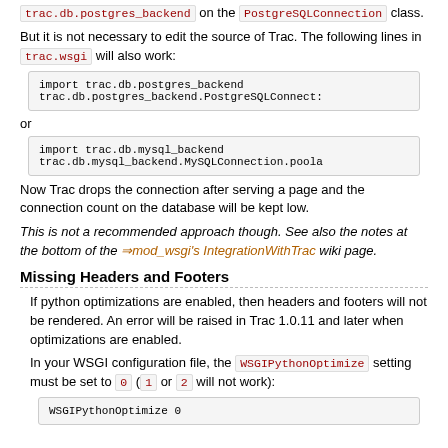trac.db.postgres_backend on the PostgreSQLConnection class.
But it is not necessary to edit the source of Trac. The following lines in trac.wsgi will also work:
import trac.db.postgres_backend
trac.db.postgres_backend.PostgreSQLConnect:
or
import trac.db.mysql_backend
trac.db.mysql_backend.MySQLConnection.poola
Now Trac drops the connection after serving a page and the connection count on the database will be kept low.
This is not a recommended approach though. See also the notes at the bottom of the mod_wsgi's IntegrationWithTrac wiki page.
Missing Headers and Footers
If python optimizations are enabled, then headers and footers will not be rendered. An error will be raised in Trac 1.0.11 and later when optimizations are enabled.
In your WSGI configuration file, the WSGIPythonOptimize setting must be set to 0 (1 or 2 will not work):
WSGIPythonOptimize 0